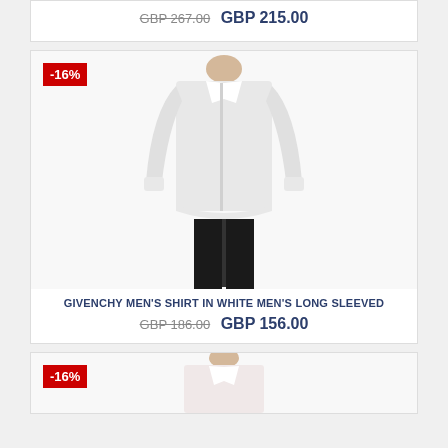GBP 267.00  GBP 215.00
[Figure (photo): Man wearing white long-sleeved Givenchy shirt with black trousers, product photo on white background]
-16%
GIVENCHY MEN'S SHIRT IN WHITE MEN'S LONG SLEEVED
GBP 186.00  GBP 156.00
[Figure (photo): Man wearing light pink long-sleeved shirt, product photo, partially visible at bottom]
-16%